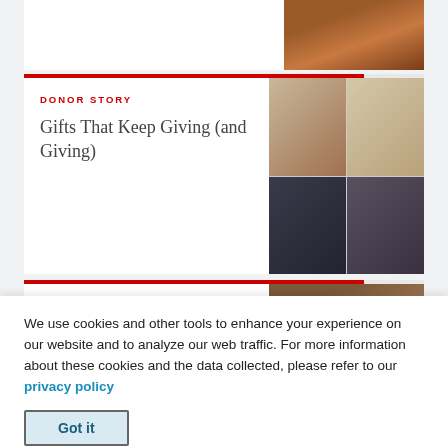[Figure (photo): Partial cropped photo at top of page, showing person in dark top]
DONOR STORY
Gifts That Keep Giving (and Giving)
[Figure (photo): Grid of four video call participants, two women on top row, two men on bottom row]
DONOR STORY
Composer's Family Foundation
[Figure (photo): Man in suit with dark background, partial view]
We use cookies and other tools to enhance your experience on our website and to analyze our web traffic. For more information about these cookies and the data collected, please refer to our privacy policy
Got it